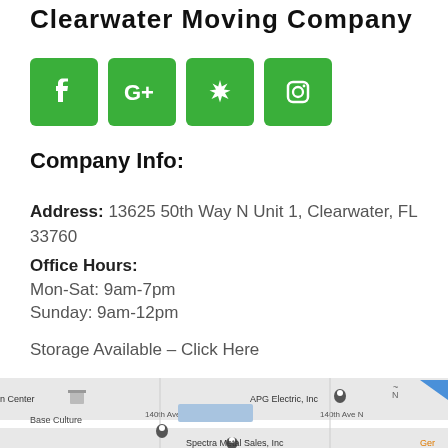Clearwater Moving Company
[Figure (infographic): Four green social media icon buttons: Facebook (f), Google+ (G+), Yelp (asterisk/flower), Instagram (camera outline)]
Company Info:
Address: 13625 50th Way N Unit 1, Clearwater, FL 33760
Office Hours:
Mon-Sat: 9am-7pm
Sunday: 9am-12pm
Storage Available – Click Here
[Figure (map): Google Maps partial screenshot showing location near 140th Ave N, Clearwater FL, with markers for Base Culture, APG Electric Inc, Spectra Metal Sales Inc, and a highlighted blue rectangle indicating the business location.]